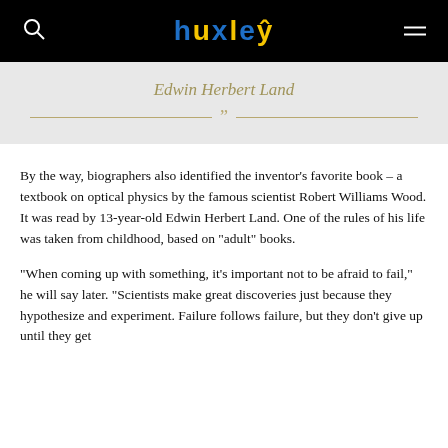huxley
Edwin Herbert Land
By the way, biographers also identified the inventor’s favorite book – a textbook on optical physics by the famous scientist Robert Williams Wood. It was read by 13-year-old Edwin Herbert Land. One of the rules of his life was taken from childhood, based on “adult” books.
“When coming up with something, it’s important not to be afraid to fail,” he will say later. “Scientists make great discoveries just because they hypothesize and experiment. Failure follows failure, but they don’t give up until they get